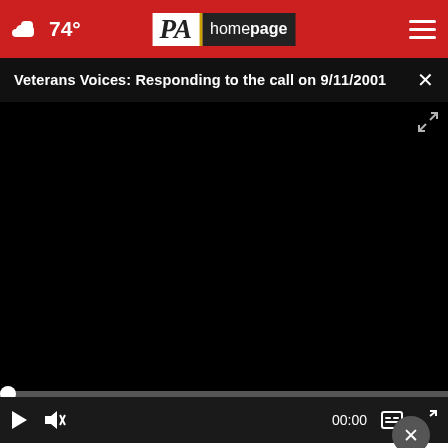☁ 74° | PA Homepage | ☰
Veterans Voices: Responding to the call on 9/11/2001
[Figure (screenshot): Black video player with progress bar at start (00:00), play button, mute button, timestamp 00:00, caption icon, and fullscreen icon]
Consumer Coalition
[Figure (infographic): Advertisement banner: UP TO $25,000 AVAILABLE FOR HOME REPAIRS with QUALIFY NOW button and house icon on green/blue gradient background]